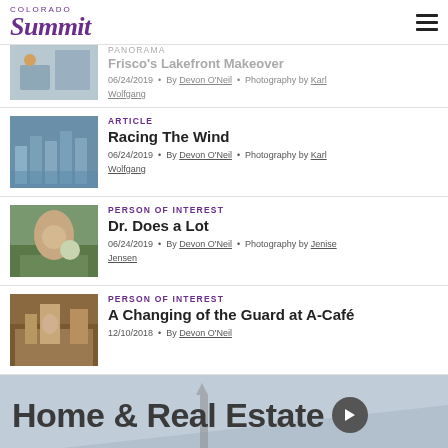Colorado Summit — PANORAMA
PANORAMA
Frisco's Lakefront Makeover
06/24/2019 • By Devon O'Neil • Photography by Karl Wolfgang
ARTICLE
Racing The Wind
06/24/2019 • By Devon O'Neil • Photography by Karl Wolfgang
PERSON OF INTEREST
Dr. Does a Lot
06/24/2019 • By Devon O'Neil • Photography by Jenise Jensen
PERSON OF INTEREST
A Changing of the Guard at A-Café
12/10/2018 • By Devon O'Neil
Home & Real Estate